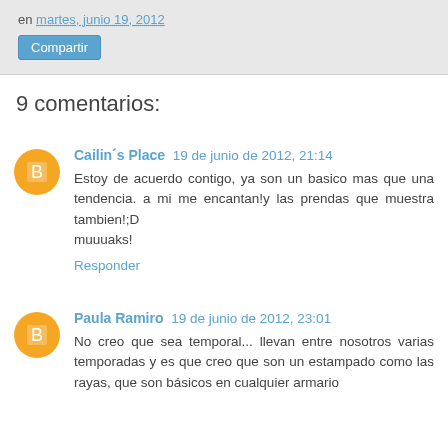en martes, junio 19, 2012
Compartir
9 comentarios:
Cailin´s Place 19 de junio de 2012, 21:14
Estoy de acuerdo contigo, ya son un basico mas que una tendencia. a mi me encantan!y las prendas que muestra tambien!;D muuuaks!
Responder
Paula Ramiro 19 de junio de 2012, 23:01
No creo que sea temporal... llevan entre nosotros varias temporadas y es que creo que son un estampado como las rayas, que son básicos en cualquier armario